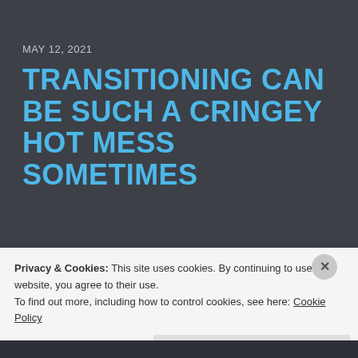MAY 12, 2021
TRANSITIONING CAN BE SUCH A CRINGEY HOT MESS SOMETIMES
Is “cringey” a word? I do not know about the rest of you, but I dislike moments that make me cringe so much. Like, with a strong, hard passion. When you are Trans and
Privacy & Cookies: This site uses cookies. By continuing to use this website, you agree to their use.
To find out more, including how to control cookies, see here: Cookie Policy
Close and accept